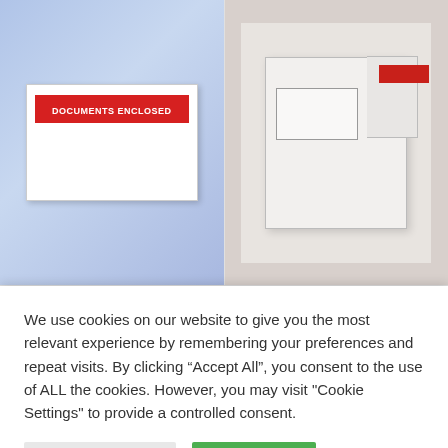[Figure (photo): Product photo of a white DL document enclosed wallet/envelope with a red 'DOCUMENTS ENCLOSED' label strip across the top, shown against a light blue gradient background]
[Figure (photo): Product photo of white C5 board back envelopes stacked, showing the rigid board backing and a red peel-and-seal strip on the flap, shown against a grey/beige background]
1000 DL DOCUMENT ENCLOSED WALLETS
125 C5 162MM X 229MM WHITE BOARD BACK
We use cookies on our website to give you the most relevant experience by remembering your preferences and repeat visits. By clicking “Accept All”, you consent to the use of ALL the cookies. However, you may visit "Cookie Settings" to provide a controlled consent.
Cookie Settings
Accept All